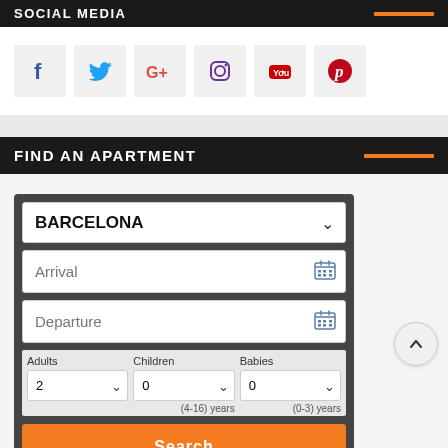SOCIAL MEDIA
[Figure (screenshot): Social media icons: Facebook, Twitter, Google+, Instagram, YouTube, Pinterest in grey boxes]
FIND AN APARTMENT
[Figure (screenshot): Apartment search form with city dropdown (BARCELONA), Arrival date field, Departure date field, Adults/Children/Babies dropdowns and Search button]